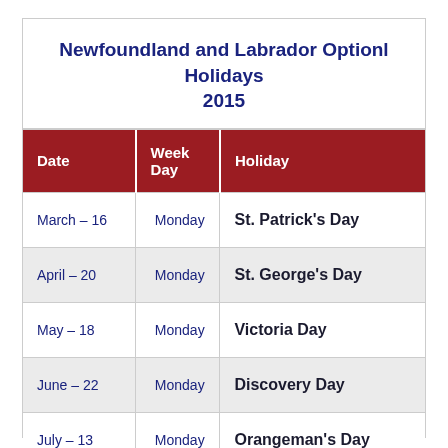Newfoundland and Labrador Optionl Holidays 2015
| Date | Week Day | Holiday |
| --- | --- | --- |
| March – 16 | Monday | St. Patrick's Day |
| April – 20 | Monday | St. George's Day |
| May – 18 | Monday | Victoria Day |
| June – 22 | Monday | Discovery Day |
| July – 13 | Monday | Orangeman's Day |